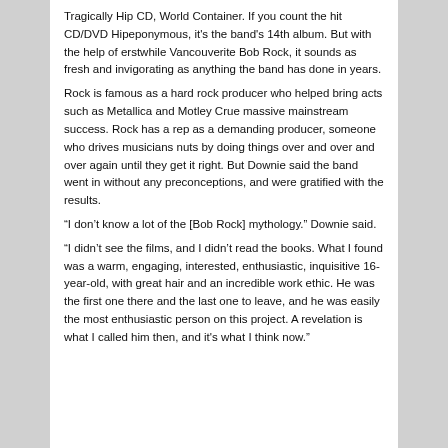Tragically Hip CD, World Container. If you count the hit CD/DVD Hipeponymous, it's the band's 14th album. But with the help of erstwhile Vancouverite Bob Rock, it sounds as fresh and invigorating as anything the band has done in years.
Rock is famous as a hard rock producer who helped bring acts such as Metallica and Motley Crue massive mainstream success. Rock has a rep as a demanding producer, someone who drives musicians nuts by doing things over and over and over again until they get it right. But Downie said the band went in without any preconceptions, and were gratified with the results.
“I don’t know a lot of the [Bob Rock] mythology.” Downie said.
“I didn’t see the films, and I didn’t read the books. What I found was a warm, engaging, interested, enthusiastic, inquisitive 16-year-old, with great hair and an incredible work ethic. He was the first one there and the last one to leave, and he was easily the most enthusiastic person on this project. A revelation is what I called him then, and it's what I think now.”